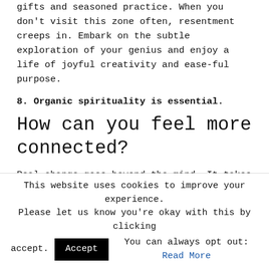Your unique genius is a merry dance between natural gifts and seasoned practice. When you don't visit this zone often, resentment creeps in. Embark on the subtle exploration of your genius and enjoy a life of joyful creativity and ease-ful purpose.
8. Organic spirituality is essential.
How can you feel more connected?
Real change goes beyond the mind. It takes heart, guts, and deep-down grokking. It doesn't discriminate by cosmological beliefs, religion, or sexual orientation — and neither do we. We're far more interested in facilitating love, compassion, and shifts of consciousness.
This website uses cookies to improve your experience. Please let us know you're okay with this by clicking accept. You can always opt out: Read More